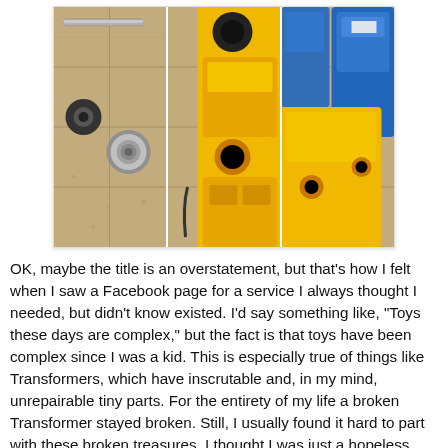[Figure (photo): Three-panel photo collage: left panel shows small metal hardware pieces (rod and nut/washer) on a beige tile surface; middle panel shows a close-up of a yellow Transformer toy figure; right panel shows yellow and blue Transformer toy parts assembled.]
OK, maybe the title is an overstatement, but that's how I felt when I saw a Facebook page for a service I always thought I needed, but didn't know existed. I'd say something like, "Toys these days are complex," but the fact is that toys have been complex since I was a kid. This is especially true of things like Transformers, which have inscrutable and, in my mind, unrepairable tiny parts. For the entirety of my life a broken Transformer stayed broken. Still, I usually found it hard to part with these broken treasures. I thought I was just a hopeless pack rat until I read this post by Tenor Dad who put to words what had been a vague feeling for me: